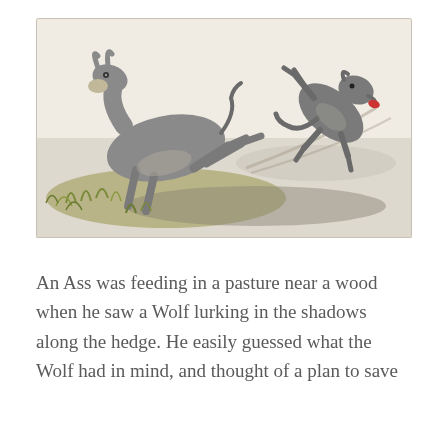[Figure (illustration): A vintage illustrated fable image showing a donkey kicking a wolf. The donkey is rearing and kicking backwards with its hind legs, launching the wolf into the air. Both animals are depicted in a classic pen-and-ink with light watercolor style. The scene is set on a grassy knoll beside a path or body of water.]
An Ass was feeding in a pasture near a wood when he saw a Wolf lurking in the shadows along the hedge. He easily guessed what the Wolf had in mind, and thought of a plan to save